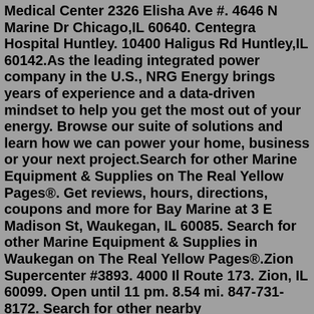Medical Center 2326 Elisha Ave #. 4646 N Marine Dr Chicago,IL 60640. Centegra Hospital Huntley. 10400 Haligus Rd Huntley,IL 60142.As the leading integrated power company in the U.S., NRG Energy brings years of experience and a data-driven mindset to help you get the most out of your energy. Browse our suite of solutions and learn how we can power your home, business or your next project.Search for other Marine Equipment & Supplies on The Real Yellow Pages®. Get reviews, hours, directions, coupons and more for Bay Marine at 3 E Madison St, Waukegan, IL 60085. Search for other Marine Equipment & Supplies in Waukegan on The Real Yellow Pages®.Zion Supercenter #3893. 4000 Il Route 173. Zion, IL 60099. Open until 11 pm. 8.54 mi. 847-731-8172. Search for other nearby stores.Waukegan Illinois Psychiatrist Doctors physician directory - Generalized anxiety disorder (GAD) causes symptoms such as dread, worry, and angst. ... 3001 Green Bay Rd North Chicago, IL 60064. 2 office locations. Lori Moss. 3001 Green Bay Rd ... 4646 N Marine Dr